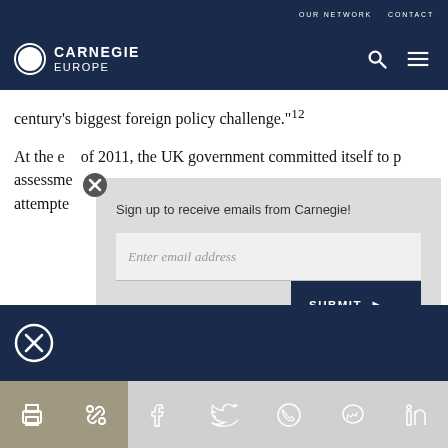OUR NETWORK   CONTACT
[Figure (logo): Carnegie Europe logo — circular C/D icon in white on dark blue, text CARNEGIE EUROPE]
century's biggest foreign policy challenge.”¹²
At the end of 2011, the UK government committed itself to producing a national climate change risk assessment... attempted...
[Figure (screenshot): Modal newsletter signup overlay: 'Sign up to receive emails from Carnegie!' with email input field and SUBMIT button]
[Figure (infographic): Dark blue bottom bar with close (X circle) button]
[Figure (infographic): Share bar with print, link, Facebook, Twitter, WhatsApp, Messenger, LinkedIn icons]